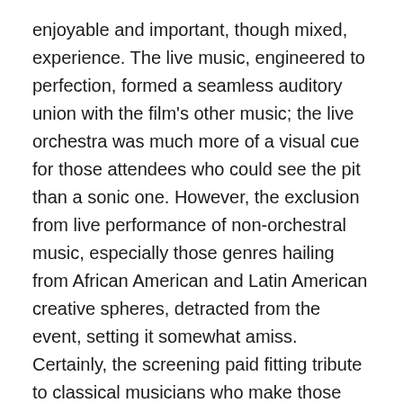enjoyable and important, though mixed, experience. The live music, engineered to perfection, formed a seamless auditory union with the film's other music; the live orchestra was much more of a visual cue for those attendees who could see the pit than a sonic one. However, the exclusion from live performance of non-orchestral music, especially those genres hailing from African American and Latin American creative spheres, detracted from the event, setting it somewhat amiss. Certainly, the screening paid fitting tribute to classical musicians who make those lush swells and accents happen in film. In truth, however, the screening succeeded most where it would have in a typical screening—in the story itself and in its manifold deep and broad significances.
Chris Chism: Just to start off: this was an event. It was